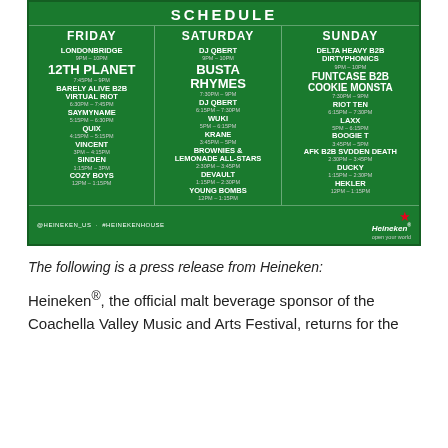[Figure (infographic): Heineken House music festival schedule for Friday, Saturday, and Sunday showing DJ/artist names and time slots on a green background with Heineken branding.]
The following is a press release from Heineken:
Heineken®, the official malt beverage sponsor of the Coachella Valley Music and Arts Festival, returns for the